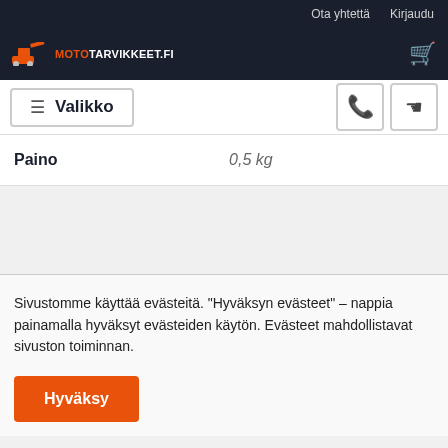Ota yhtettä   Kirjaudu
[Figure (logo): Mototarvikkeet.fi logo with orange excavator icon and white/orange text, plus shopping cart icon on the right]
≡ Valikko
| Paino |  |
| --- | --- |
| Paino | 0,5 kg |
Sivustomme käyttää evästeitä. "Hyväksyn evästeet" – nappia painamalla hyväksyt evästeiden käytön. Evästeet mahdollistavat sivuston toiminnan.
Hyväksy